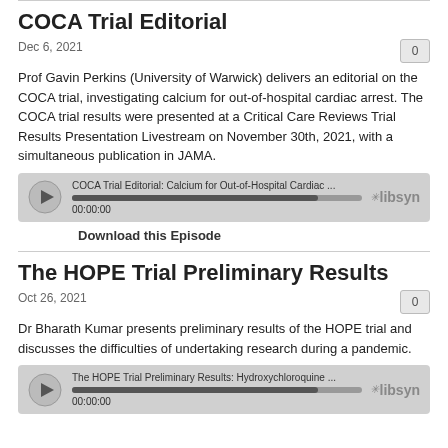COCA Trial Editorial
Dec 6, 2021
Prof Gavin Perkins (University of Warwick) delivers an editorial on the COCA trial, investigating calcium for out-of-hospital cardiac arrest. The COCA trial results were presented at a Critical Care Reviews Trial Results Presentation Livestream on November 30th, 2021, with a simultaneous publication in JAMA.
[Figure (other): Audio player widget for COCA Trial Editorial: Calcium for Out-of-Hospital Cardiac ... showing progress bar at 00:00:00, with libsyn branding]
Download this Episode
The HOPE Trial Preliminary Results
Oct 26, 2021
Dr Bharath Kumar presents preliminary results of the HOPE trial and discusses the difficulties of undertaking research during a pandemic.
[Figure (other): Audio player widget for The HOPE Trial Preliminary Results: Hydroxychloroquine ... showing progress bar at 00:00:00, with libsyn branding]